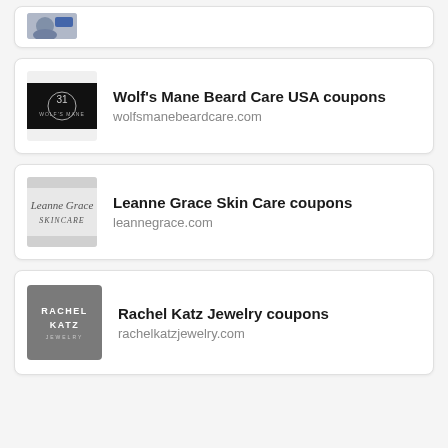[Figure (screenshot): Partial card at top showing a small profile image thumbnail]
[Figure (logo): Wolf's Mane Beard Care USA logo - dark background with emblem]
Wolf's Mane Beard Care USA coupons
wolfsmanebeardcare.com
[Figure (logo): Leanne Grace Skin Care logo in script font on light grey background]
Leanne Grace Skin Care coupons
leannegrace.com
[Figure (logo): Rachel Katz Jewelry logo on dark grey background]
Rachel Katz Jewelry coupons
rachelkatzjewelry.com